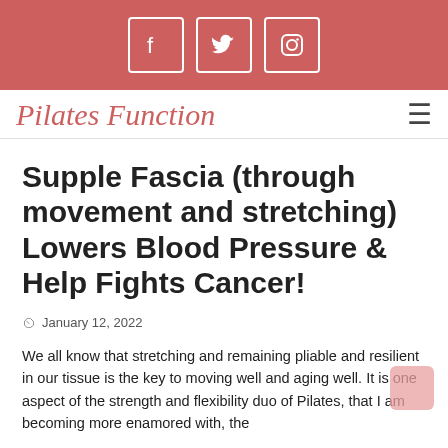Social media icons: Facebook, Twitter, Instagram
Pilates Function
Supple Fascia (through movement and stretching) Lowers Blood Pressure & Help Fights Cancer!
January 12, 2022
We all know that stretching and remaining pliable and resilient in our tissue is the key to moving well and aging well. It is one aspect of the strength and flexibility duo of Pilates, that I am becoming more enamored with, the